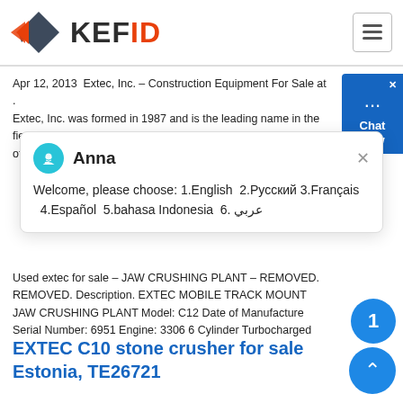[Figure (logo): KEFID logo with grey arrow/diamond shape on left and KEFID text where D is in orange/red]
Apr 12, 2013  Extec, Inc. – Construction Equipment For Sale at . Extec, Inc. was formed in 1987 and is the leading name in the fie of Screens and Crushers; its
[Figure (screenshot): Chat popup dialog with Anna avatar, welcome message: Welcome, please choose: 1.English  2.Русский 3.Français  4.Español  5.bahasa Indonesia  6.عربي]
Used extec for sale – JAW CRUSHING PLANT – REMOVED. REMOVED. Description. EXTEC MOBILE TRACK MOUNT JAW CRUSHING PLANT Model: C12 Date of Manufacture Serial Number: 6951 Engine: 3306 6 Cylinder Turbocharged
EXTEC C10 stone crusher for sale Estonia, TE26721
EXTEC C10 stone crusher sale advertisement from Estonia. Rock crusher Price $00,000 Year of manufacture 2007